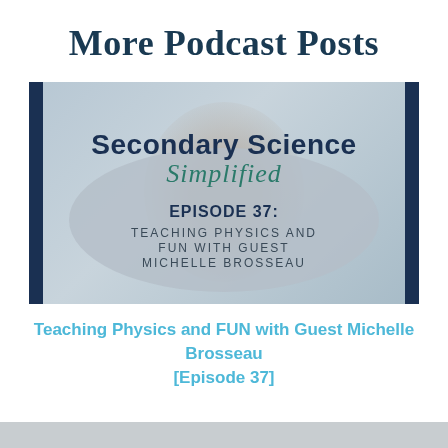More Podcast Posts
[Figure (illustration): Podcast cover art for Secondary Science Simplified, Episode 37: Teaching Physics and FUN with Guest Michelle Brosseau. Features a woman with light hair against a blurred background, with dark navy side borders.]
Teaching Physics and FUN with Guest Michelle Brosseau [Episode 37]